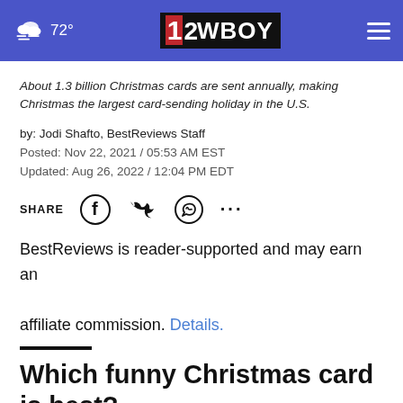72° | 12WBOY
About 1.3 billion Christmas cards are sent annually, making Christmas the largest card-sending holiday in the U.S.
by: Jodi Shafto, BestReviews Staff
Posted: Nov 22, 2021 / 05:53 AM EST
Updated: Aug 26, 2022 / 12:04 PM EDT
SHARE
BestReviews is reader-supported and may earn an affiliate commission. Details.
Which funny Christmas card is best?
There are so many ways to spread Christmas joy